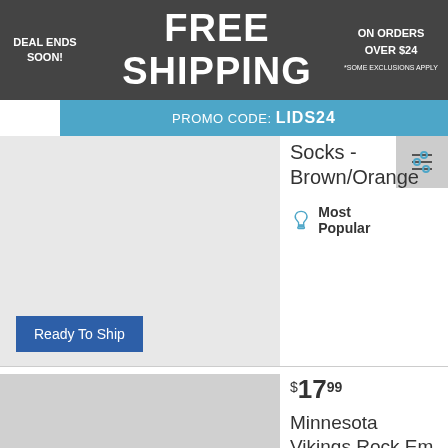DEAL ENDS SOON! FREE SHIPPING ON ORDERS OVER $24 *SOME EXCLUSIONS APPLY
PROMO CODE: LIDS24
Socks - Brown/Orange
Most Popular
Ready To Ship
$17.99
Minnesota Vikings Rock Em Socks Youth Team Logo Sketch Crew Socks